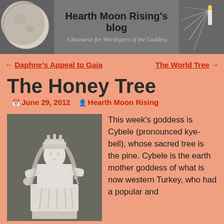Hearth Moon Rising's blog — A Resource for Worshipers of the Goddess
← Daphne's Appeal to Gaia    The World Tree →
The Honey Tree
June 29, 2012   Hearth Moon Rising
[Figure (photo): White marble statue of Cybele, seated goddess figure, classical style]
This week's goddess is Cybele (pronounced kye-bell), whose sacred tree is the pine. Cybele is the earth mother goddess of what is now western Turkey, who had a popular and